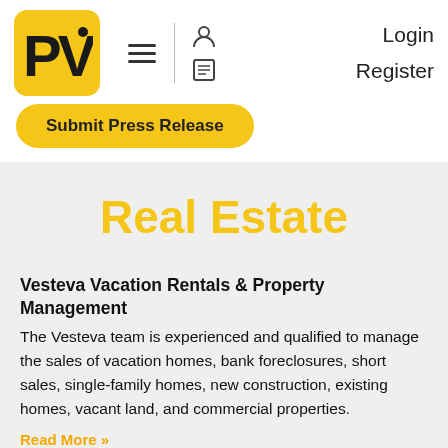[Figure (logo): PV logo in yellow rounded square with black bold PV letters]
Login  Register
Submit Press Release
Real Estate
Vesteva Vacation Rentals & Property Management
The Vesteva team is experienced and qualified to manage the sales of vacation homes, bank foreclosures, short sales, single-family homes, new construction, existing homes, vacant land, and commercial properties.
Read More »